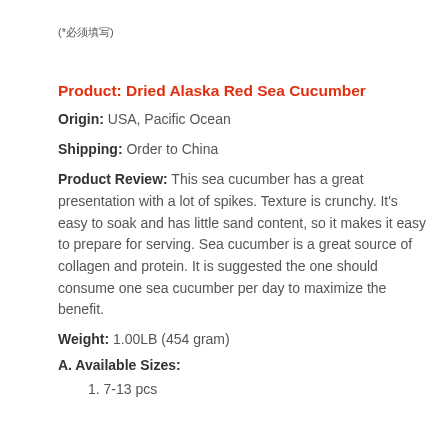(*必须填写)
Product:  Dried Alaska Red Sea Cucumber
Origin:  USA, Pacific Ocean
Shipping:  Order to China
Product Review:  This sea cucumber has a great presentation with a lot of spikes. Texture is crunchy. It's easy to soak and has little sand content, so it makes it easy to prepare for serving. Sea cucumber is a great source of collagen and protein.  It is suggested the one should consume one sea cucumber per day to maximize the benefit.
Weight: 1.00LB (454 gram)
A. Available Sizes:
1. 7-13 pcs